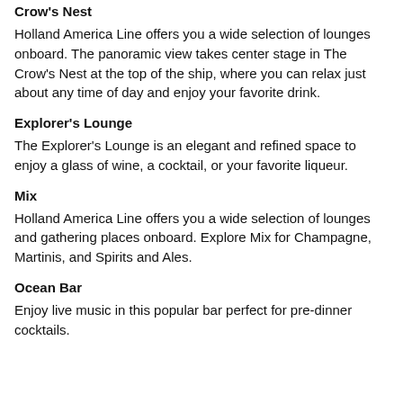Crow's Nest
Holland America Line offers you a wide selection of lounges onboard. The panoramic view takes center stage in The Crow's Nest at the top of the ship, where you can relax just about any time of day and enjoy your favorite drink.
Explorer's Lounge
The Explorer's Lounge is an elegant and refined space to enjoy a glass of wine, a cocktail, or your favorite liqueur.
Mix
Holland America Line offers you a wide selection of lounges and gathering places onboard. Explore Mix for Champagne, Martinis, and Spirits and Ales.
Ocean Bar
Enjoy live music in this popular bar perfect for pre-dinner cocktails.